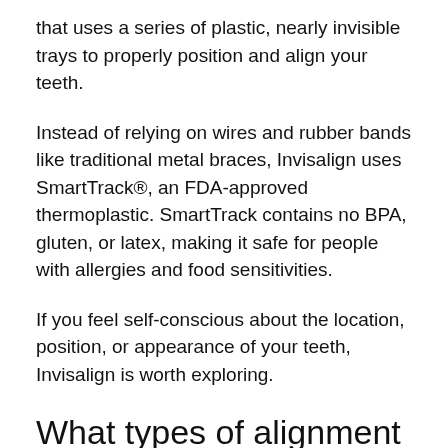that uses a series of plastic, nearly invisible trays to properly position and align your teeth.
Instead of relying on wires and rubber bands like traditional metal braces, Invisalign uses SmartTrack®, an FDA-approved thermoplastic. SmartTrack contains no BPA, gluten, or latex, making it safe for people with allergies and food sensitivities.
If you feel self-conscious about the location, position, or appearance of your teeth, Invisalign is worth exploring.
What types of alignment issues can Invisalign correct?